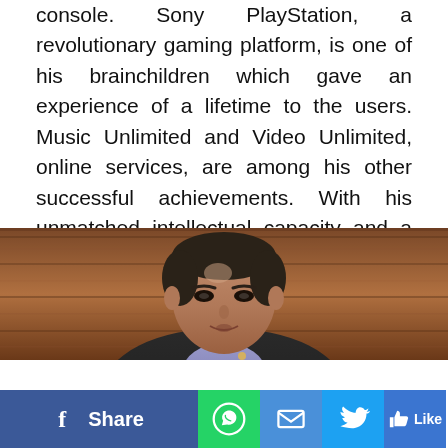console. Sony PlayStation, a revolutionary gaming platform, is one of his brainchildren which gave an experience of a lifetime to the users. Music Unlimited and Video Unlimited, online services, are among his other successful achievements. With his unmatched intellectual capacity and a passion for innovation, Kazuo verily features alongside other influential names.
13. Takashi Tanaka
[Figure (photo): Photo of Takashi Tanaka speaking at an event, wearing a dark suit with a lapel microphone, against a wooden background.]
Share | WhatsApp | Email | Twitter | Like